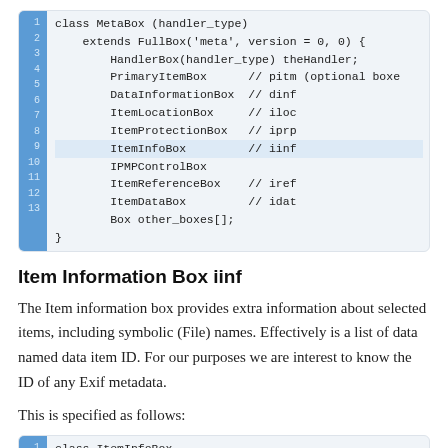[Figure (screenshot): Code block showing class MetaBox definition with line numbers 1-13, blue gutter on left. Shows class hierarchy with HandlerBox, PrimaryItemBox, DataInformationBox, ItemLocationBox, ItemProtectionBox, ItemInfoBox, IPMPControlBox, ItemReferenceBox, ItemDataBox, Box other_boxes[] fields.]
Item Information Box iinf
The Item information box provides extra information about selected items, including symbolic (File) names. Effectively is a list of data named data item ID. For our purposes we are interest to know the ID of any Exif metadata.
This is specified as follows:
[Figure (screenshot): Code block showing start of class ItemInfoBox definition with line numbers 1-3, blue gutter. Shows: class ItemInfoBox extends FullBox('iinf', version, 0) { if (version == 0) {]